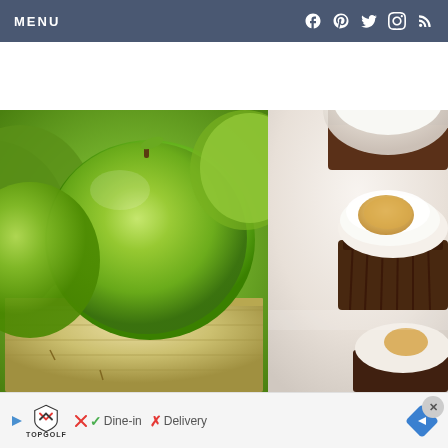MENU
[Figure (photo): Split image: left side shows green apples in a wooden/cardboard box, right side shows cupcakes with white frosting and caramel topping]
Dine-in   Delivery